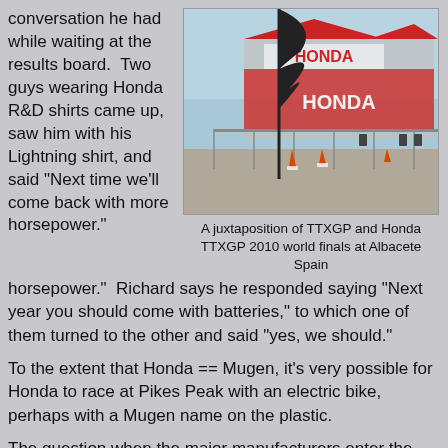conversation he had while waiting at the results board.  Two guys wearing Honda R&D shirts came up, saw him with his Lightning shirt, and said "Next time we'll come back with more horsepower."
[Figure (photo): Photo of a race circuit area with TTXGP and Honda branding banners, a tall black feather flag, fencing, and cones on the track surface at Albacete Spain]
A juxtaposition of TTXGP and Honda TTXGP 2010 world finals at Albacete Spain
Richard says he responded saying "Next year you should come with batteries," to which one of them turned to the other and said "yes, we should."
To the extent that Honda == Mugen, it's very possible for Honda to race at Pikes Peak with an electric bike, perhaps with a Mugen name on the plastic.
The question when the major manufacturers enter the game is whether the scrappy upstarts like Lightning will be able to